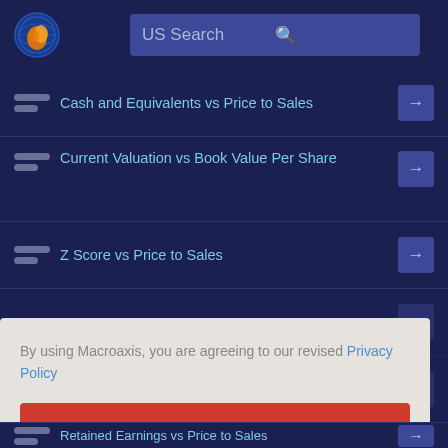[Figure (screenshot): Macroaxis website header with globe logo and US Search bar]
Cash and Equivalents vs Price to Sales
Current Valuation vs Book Value Per Share
Z Score vs Price to Sales
By using Macroaxis, you are agreeing to our revised Privacy Policy
OK
Retained Earnings vs Price to Sales